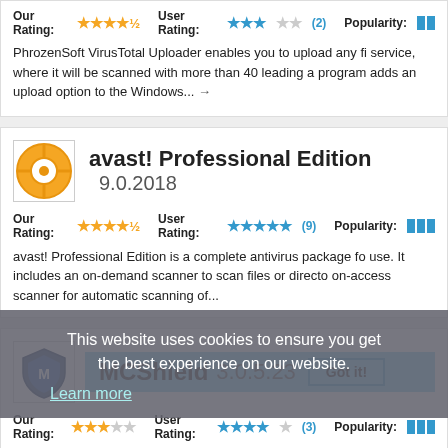Our Rating: ★★★★½  User Rating: ★★★☆☆ (2)  Popularity:
PhrozenSoft VirusTTotal Uploader enables you to upload any fi service, where it will be scanned with more than 40 leading a program adds an upload option to the Windows... →
[Figure (logo): avast! antivirus orange logo icon]
avast! Professional Edition 9.0.2018
Our Rating: ★★★★½  User Rating: ★★★★★ (9)  Popularity:
avast! Professional Edition is a complete antivirus package fo use. It includes an on-demand scanner to scan files or directo on-access scanner for automatic scanning of...
[Figure (logo): MCShield blue shield logo icon]
MCShield 3.0.5.23
Our Rating: ★★★½☆  User Rating: ★★★★☆ (3)  Popularity:
MCShield is an anti-malware program, designed to prevent m
This website uses cookies to ensure you get the best experience on our website. Learn more Got it!